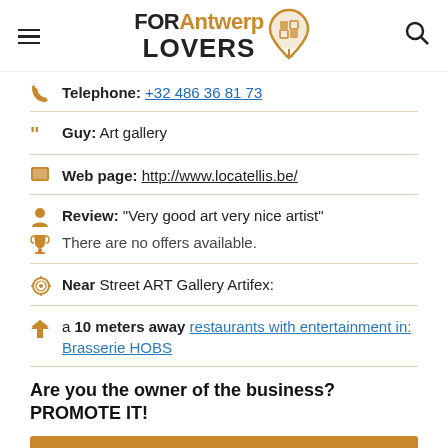FOR Antwerp LOVERS
Telephone: +32 486 36 81 73
Guy: Art gallery
Web page: http://www.locatellis.be/
Review: "Very good art very nice artist"
There are no offers available.
Near Street ART Gallery Artifex:
a 10 meters away restaurants with entertainment in: Brasserie HOBS
Are you the owner of the business? PROMOTE IT!
BE THE 1ST IN THE RANKING